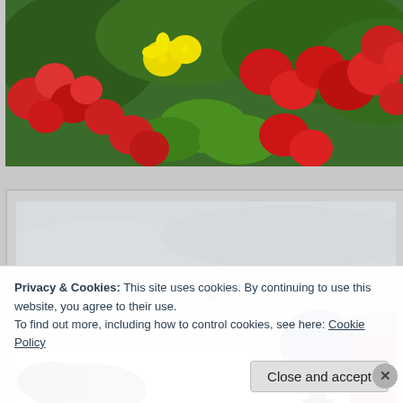[Figure (photo): Close-up photo of colorful flowers including red begonias and yellow zinnias with green foliage]
[Figure (photo): Outdoor scene showing a blue ceramic or mosaic decorative post/finial, a rooftop with grey metal sheeting, sky, and a small bird or kite in the distance]
Privacy & Cookies: This site uses cookies. By continuing to use this website, you agree to their use.
To find out more, including how to control cookies, see here: Cookie Policy
Close and accept